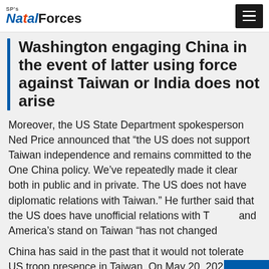SP's Naval Forces
Washington engaging China in the event of latter using force against Taiwan or India does not arise
Moreover, the US State Department spokesperson Ned Price announced that “the US does not support Taiwan independence and remains committed to the One China policy. We’ve repeatedly made it clear both in public and in private. The US does not have diplomatic relations with Taiwan.” He further said that the US does have unofficial relations with Taiwan and America’s stand on Taiwan “has not changed”.
China has said in the past that it would not tolerate US troop presence in Taiwan. On May 20, 2022, when Biden visited South Korea, he made no mention of China and indicated he is not bothered much about North Korea as a top concern for South Korea and Japan.